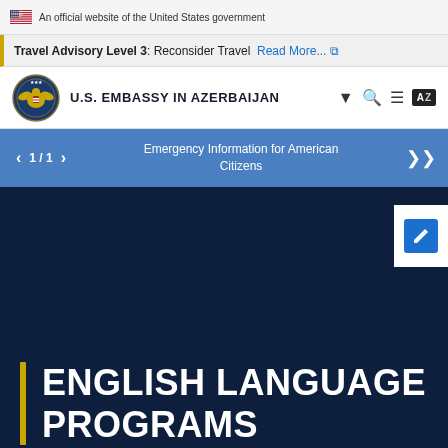An official website of the United States government
Travel Advisory Level 3: Reconsider Travel Read More...
U.S. EMBASSY IN AZERBAIJAN
1 / 1 Emergency Information for American Citizens
ENGLISH LANGUAGE PROGRAMS